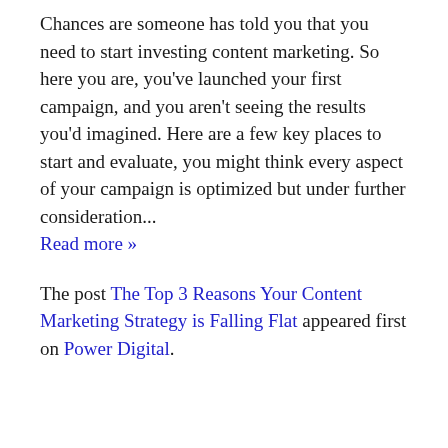Chances are someone has told you that you need to start investing content marketing. So here you are, you've launched your first campaign, and you aren't seeing the results you'd imagined. Here are a few key places to start and evaluate, you might think every aspect of your campaign is optimized but under further consideration... Read more »
The post The Top 3 Reasons Your Content Marketing Strategy is Falling Flat appeared first on Power Digital.